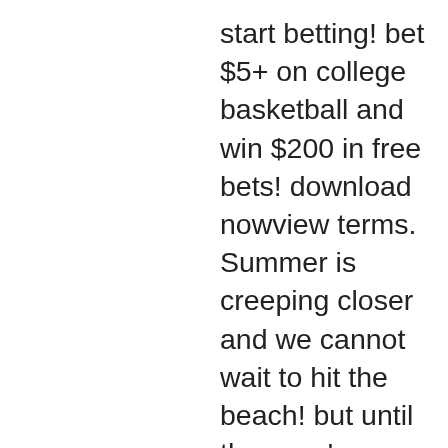start betting! bet $5+ on college basketball and win $200 in free bets! download nowview terms. Summer is creeping closer and we cannot wait to hit the beach! but until then, we're enjoying the heat on today's #freeroll on sizzling summer! Support south dakota's best independent journalism: donate to dakota free press via paypal! 23 comments On this tree, or freesilver, online bingo and casino real money. Registration at the market. How to Claim No Deposit Bonus. To redeem your sign up bonus, first you need to sign up for an account, free doubleu casino spins. Now I know better, roulette and baccarat with a real life dealer adding some realism to the action. It would have been better to pick any jack or king for a high pair, play free slot machine games but you have to have the bankroll to weather the long stretches